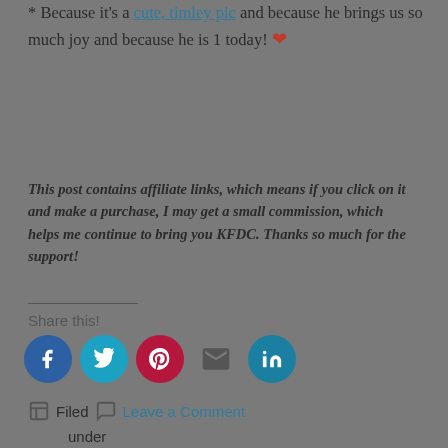* Because it's a cute, timley pic and because he brings us so much joy and because he is 1 today! ❤
This post contains affiliate links, which means if you click on it and make a purchase, I may get a small commission, which helps me continue to bring you KFDC. Thanks so much for the support!
Share this!
[Figure (infographic): Social sharing icons: Facebook (blue circle), Twitter (teal circle), Pinterest (dark red circle), Email (envelope icon), LinkedIn (teal circle)]
Filed  Leave a Comment under 2021, All ages, DC, Fall, Maryland, Virginia, Weekend